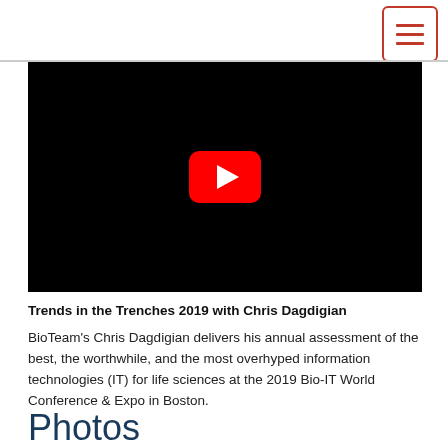[hamburger menu button]
[Figure (screenshot): YouTube video player with black background and red YouTube play button in the center]
Trends in the Trenches 2019 with Chris Dagdigian
BioTeam's Chris Dagdigian delivers his annual assessment of the best, the worthwhile, and the most overhyped information technologies (IT) for life sciences at the 2019 Bio-IT World Conference & Expo in Boston.
Photos